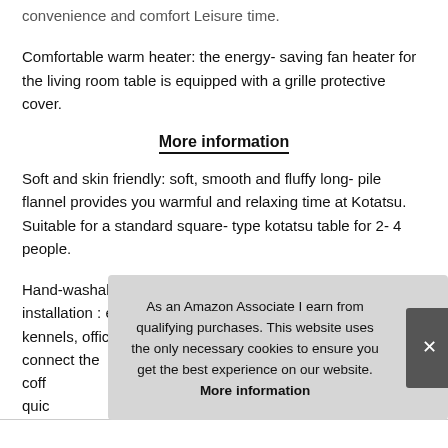convenience and comfort Leisure time.
Comfortable warm heater: the energy- saving fan heater for the living room table is equipped with a grille protective cover.
More information
Soft and skin friendly: soft, smooth and fluffy long- pile flannel provides you warmful and relaxing time at Kotatsu. Suitable for a standard square- type kotatsu table for 2- 4 people.
Hand-washable, you can use the futon without a cover. Easy installation : easy to attach just with a few screws, dog kennels, office computer table, tatami tables, you can connect the coff quic
As an Amazon Associate I earn from qualifying purchases. This website uses the only necessary cookies to ensure you get the best experience on our website. More information